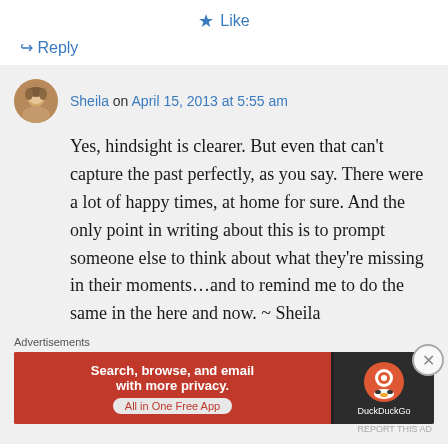★ Like
↪ Reply
Sheila on April 15, 2013 at 5:55 am
Yes, hindsight is clearer. But even that can't capture the past perfectly, as you say. There were a lot of happy times, at home for sure. And the only point in writing about this is to prompt someone else to think about what they're missing in their moments...and to remind me to do the same in the here and now. ~ Sheila
Advertisements
[Figure (other): DuckDuckGo advertisement banner: Search, browse, and email with more privacy. All in One Free App — DuckDuckGo]